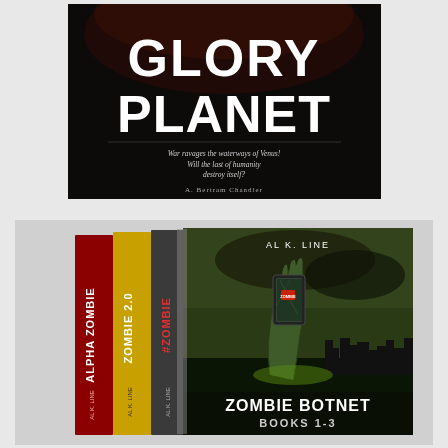[Figure (photo): Book cover for 'Glory Planet' by A. Bertram Chandler. Dark/black background with large white bold text reading 'GLORY PLANET'. Subtitle text in white reads 'War ravages the waterways of Venus! Will the last of humanity destroy itself?' Author name 'A. Bertram Chandler' in smaller white text at the bottom.]
[Figure (photo): Box set of three books titled 'Zombie Botnet Books 1-3' by Al K. Line. The front cover shows a zombie hand holding a cracked smartphone against a dark sky background with city skyline. The three book spines visible are '#Zombie', 'Zombie 2.0', and 'Alpha Zombie'. The box set text at the bottom reads 'ZOMBIE BOTNET BOOKS 1-3'.]